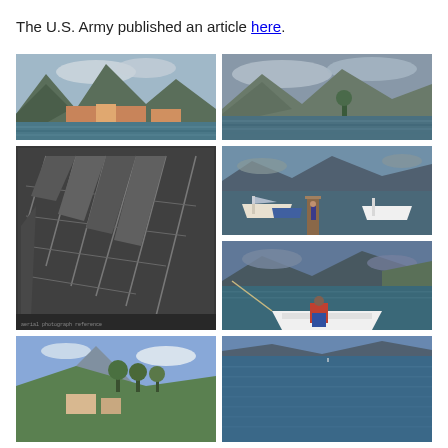The U.S. Army published an article here.
[Figure (photo): View of a lakeside town with colorful buildings and mountains in background, taken from the water]
[Figure (photo): Lake view with mountains in the background and trees along the shore, overcast sky]
[Figure (photo): Black and white aerial/map photograph showing a coastal or riverside area with streets and buildings]
[Figure (photo): Marina with sailboats and motorboats docked, person walking along a wooden pier, mountains in background]
[Figure (photo): Person on the bow of a boat on a lake with mountains and coastline visible]
[Figure (photo): Partial view of a hillside town with trees and mountains, blue sky]
[Figure (photo): Partial view of a lake with calm water, partially cut off at page bottom]